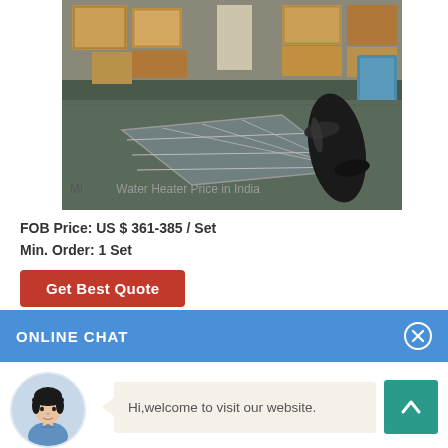[Figure (photo): Solar water heater flat panel lying on factory floor with large black cylindrical tank, boxes stacked in background of warehouse]
Mi... Water Heater Price in India
FOB Price: US $ 361-385 / Set
Min. Order: 1 Set
Get Best Quote
ONLINE CHAT
[Figure (photo): Avatar photo of a young woman named Cilina in a blue shirt]
Cilina
Hi,welcome to visit our website.